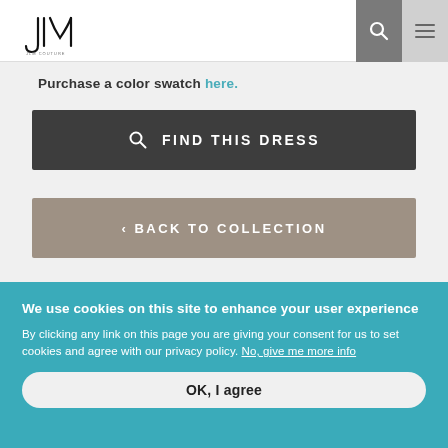JLM Couture logo with search and menu buttons
Purchase a color swatch here.
🔍 FIND THIS DRESS
‹ BACK TO COLLECTION
AVAILABLE COLORS
We use cookies on this site to enhance your user experience
By clicking any link on this page you are giving your consent for us to set cookies and agree with our privacy policy. No, give me more info
OK, I agree